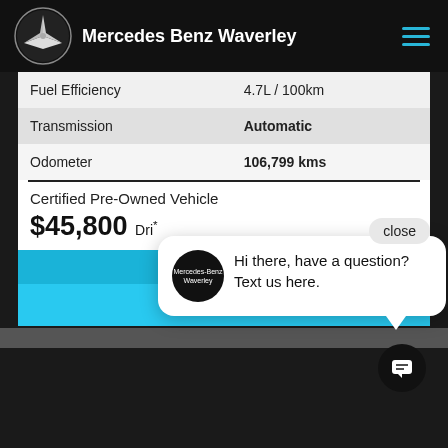Mercedes Benz Waverley
| Attribute | Value |
| --- | --- |
| Fuel Efficiency | 4.7L / 100km |
| Transmission | Automatic |
| Odometer | 106,799 kms |
Certified Pre-Owned Vehicle
$45,800 Dri...
Hi there, have a question? Text us here.
Purchase